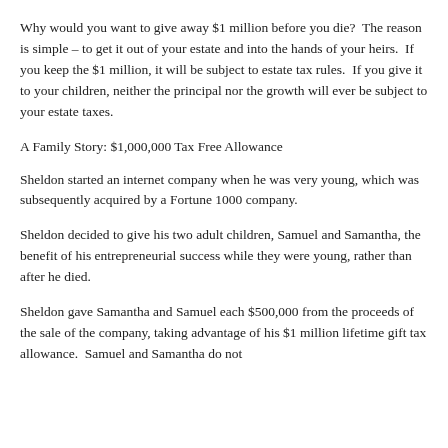Why would you want to give away $1 million before you die?  The reason is simple – to get it out of your estate and into the hands of your heirs.  If you keep the $1 million, it will be subject to estate tax rules.  If you give it to your children, neither the principal nor the growth will ever be subject to your estate taxes.
A Family Story: $1,000,000 Tax Free Allowance
Sheldon started an internet company when he was very young, which was subsequently acquired by a Fortune 1000 company.
Sheldon decided to give his two adult children, Samuel and Samantha, the benefit of his entrepreneurial success while they were young, rather than after he died.
Sheldon gave Samantha and Samuel each $500,000 from the proceeds of the sale of the company, taking advantage of his $1 million lifetime gift tax allowance.  Samuel and Samantha do not